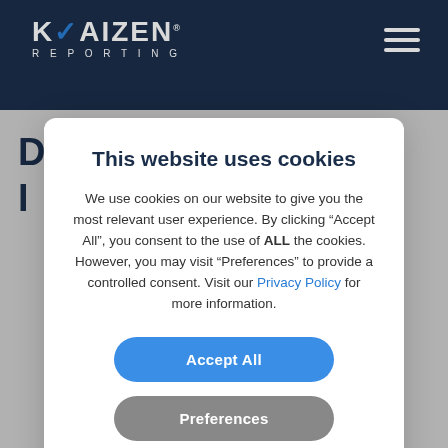KAIZEN REPORTING
This website uses cookies
We use cookies on our website to give you the most relevant user experience. By clicking “Accept All”, you consent to the use of ALL the cookies. However, you may visit "Preferences" to provide a controlled consent. Visit our Privacy Policy for more information.
Accept All
Preferences